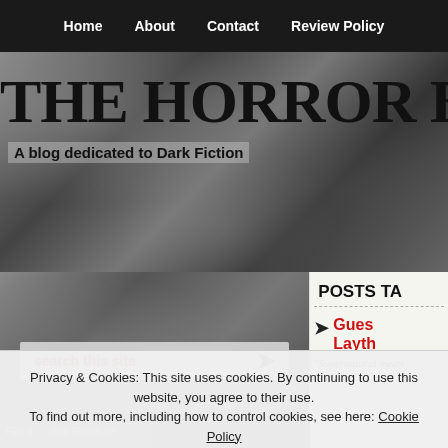Home  About  Contact  Review Policy
THE HORROR BOO...
A blog dedicated to Dark Fiction
[Figure (screenshot): Dark textured background with search bar reading 'search this site' and arrow icon]
POSTS TA...
Guest... Layth... Night...
Privacy & Cookies: This site uses cookies. By continuing to use this website, you agree to their use. To find out more, including how to control cookies, see here: Cookie Policy
Close and accept
"Supernatural meets...